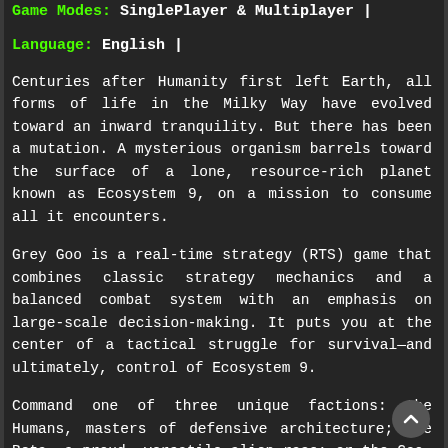Game Modes: SinglePlayer & Multiplayer |
Language: English |
Centuries after Humanity first left Earth, all forms of life in the Milky Way have evolved toward an inward tranquility. But there has been a mutation. A mysterious organism barrels toward the surface of a lone, resource-rich planet known as Ecosystem 9, on a mission to consume all it encounters.
Grey Goo is a real-time strategy (RTS) game that combines classic strategy mechanics and a balanced combat system with an emphasis on large-scale decision-making. It puts you at the center of a tactical struggle for survival—and ultimately, control of Ecosystem 9.
Command one of three unique factions: the Humans, masters of defensive architecture; the Beta, a proud, versatile alien race; or the Goo, an enigmatic, highly mobile life form. Fight from behind massive walls, attack